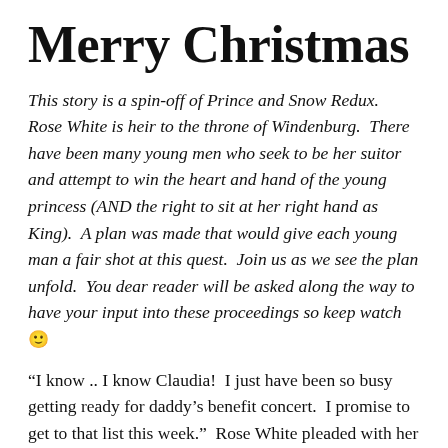Merry Christmas
This story is a spin-off of Prince and Snow Redux. Rose White is heir to the throne of Windenburg. There have been many young men who seek to be her suitor and attempt to win the heart and hand of the young princess (AND the right to sit at her right hand as King). A plan was made that would give each young man a fair shot at this quest. Join us as we see the plan unfold. You dear reader will be asked along the way to have your input into these proceedings so keep watch 🙂
“I know .. I know Claudia! I just have been so busy getting ready for daddy’s benefit concert. I promise to get to that list this week.” Rose White pleaded with her lovely but highly efficient personal assistant.